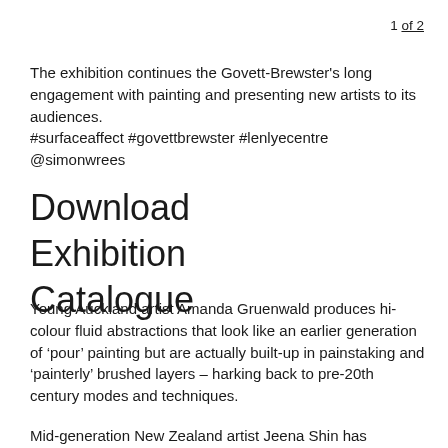1 of 2
The exhibition continues the Govett-Brewster's long engagement with painting and presenting new artists to its audiences.
#surfaceaffect #govettbrewster #lenlyecentre @simonwrees
Download
Exhibition
Catalogue
Young Auckland artist Amanda Gruenwald produces hi-colour fluid abstractions that look like an earlier generation of ‘pour’ painting but are actually built-up in painstaking and ‘painterly’ brushed layers – harking back to pre-20th century modes and techniques.
Mid-generation New Zealand artist Jeena Shin has